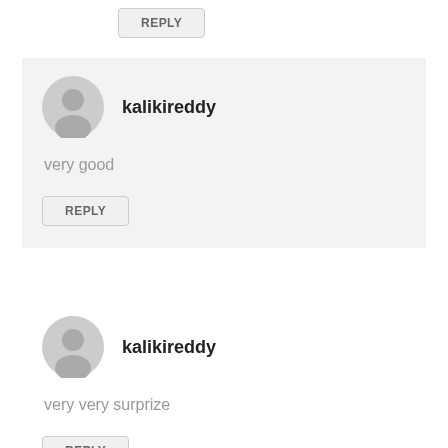REPLY
kalikireddy
very good
REPLY
kalikireddy
very very surprize
REPLY